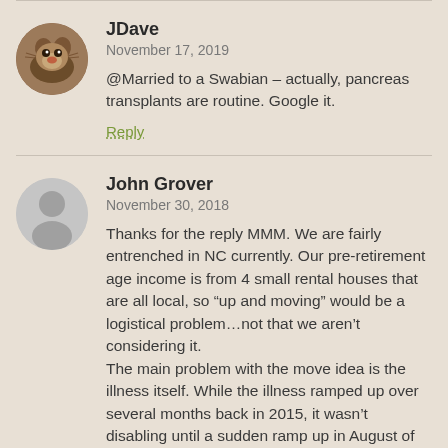[Figure (illustration): Circular avatar photo of JDave showing a dog/animal image]
JDave
November 17, 2019
@Married to a Swabian – actually, pancreas transplants are routine. Google it.
Reply
[Figure (illustration): Circular generic grey avatar silhouette for John Grover]
John Grover
November 30, 2018
Thanks for the reply MMM. We are fairly entrenched in NC currently. Our pre-retirement age income is from 4 small rental houses that are all local, so “up and moving” would be a logistical problem…not that we aren’t considering it.
The main problem with the move idea is the illness itself. While the illness ramped up over several months back in 2015, it wasn’t disabling until a sudden ramp up in August of 2016. Up to that point we assumed it would be something docs could fix. Still hoping of course, but we’re now facing a possibility at age 54 that we have years of continual chronic costs.